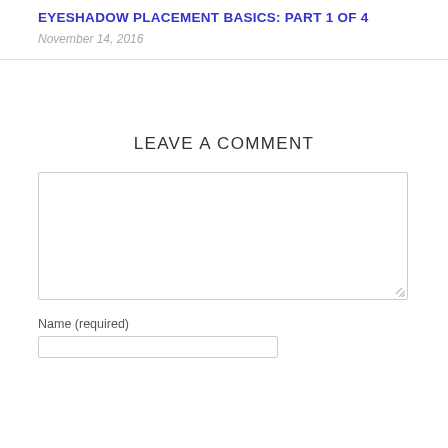EYESHADOW PLACEMENT BASICS: PART 1 OF 4
November 14, 2016
LEAVE A COMMENT
Name (required)